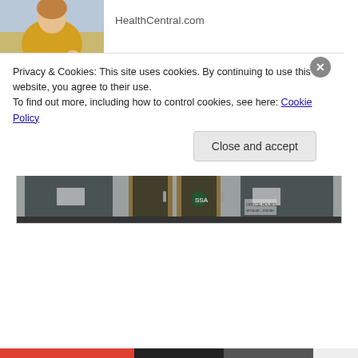[Figure (photo): Person in yellow sweater scratching their arm, possibly showing signs of psoriasis]
HealthCentral.com
[Figure (photo): Exterior photo of a Social Security Administration office building with large signage reading SOCIAL SECURITY ADMINISTRATION]
Privacy & Cookies: This site uses cookies. By continuing to use this website, you agree to their use.
To find out more, including how to control cookies, see here: Cookie Policy